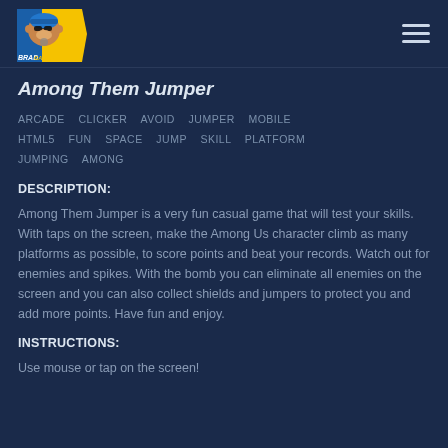[Figure (logo): BradGames logo with monkey character wearing helmet and sunglasses]
Among Them Jumper
ARCADE   CLICKER   AVOID   JUMPER   MOBILE   HTML5   FUN   SPACE   JUMP   SKILL   PLATFORM   JUMPING   AMONG
DESCRIPTION:
Among Them Jumper is a very fun casual game that will test your skills. With taps on the screen, make the Among Us character climb as many platforms as possible, to score points and beat your records. Watch out for enemies and spikes. With the bomb you can eliminate all enemies on the screen and you can also collect shields and jumpers to protect you and add more points. Have fun and enjoy.
INSTRUCTIONS:
Use mouse or tap on the screen!